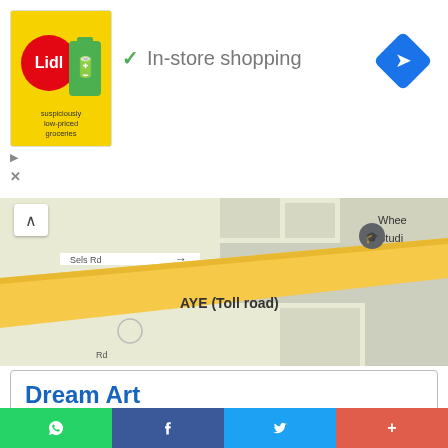[Figure (screenshot): Ad banner: Lidl logo with battery/grocery icon, green checkmark, text 'In-store shopping', blue navigation diamond icon top right, small ad indicator and close X bottom left]
[Figure (map): Google Maps screenshot showing roads including Sels Rd, AYE (Toll road), and a location pin for Wheelock Studio near a roundabout in Singapore. Yellow road lines on light map background.]
Dream Art
321 Alexandra Rd, #02-30 159971, Singapore 159971
Location: (1.2873657, 103.8052396)
Rating: 3.8/5 ★★★★☆ (17) Votes
[Figure (screenshot): Bottom social share bar with WhatsApp (green), Facebook (dark blue), Twitter (light blue), and More/Plus (red-orange) buttons]